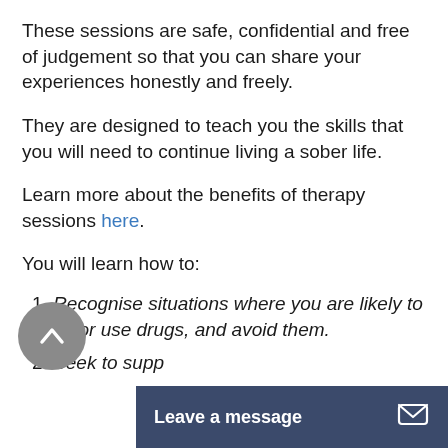These sessions are safe, confidential and free of judgement so that you can share your experiences honestly and freely.
They are designed to teach you the skills that you will need to continue living a sober life.
Learn more about the benefits of therapy sessions here.
You will learn how to:
1. Recognise situations where you are likely to drink or use drugs, and avoid them.
2. Seek to supp...